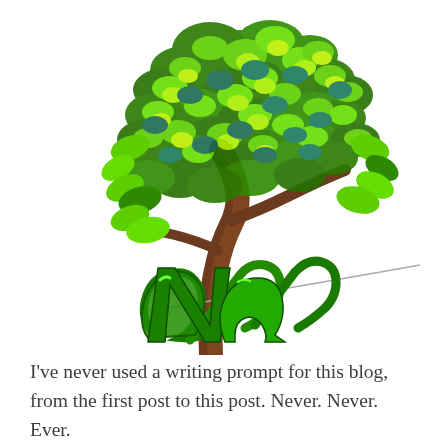[Figure (illustration): A stylized illustration of a leaning tree with bright green leafy canopy and brown trunk, accompanied by bold green decorative script lettering below the trunk, all on a white background.]
I've never used a writing prompt for this blog, from the first post to this post. Never. Never. Ever.